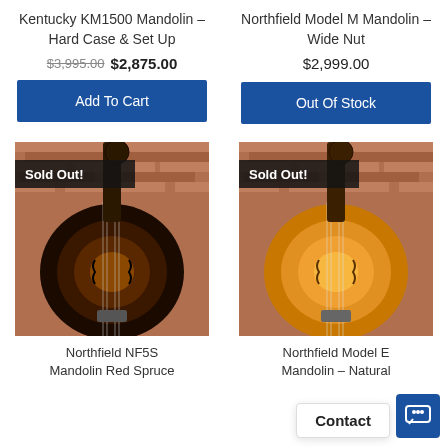Kentucky KM1500 Mandolin – Hard Case & Set Up
$3,995.00  $2,875.00
Add To Cart
Northfield Model M Mandolin – Wide Nut
$2,999.00
Out Of Stock
[Figure (photo): Dark sunburst mandolin body against brick wall background, with 'Sold Out!' badge]
[Figure (photo): Amber/natural mandolin body against brick wall background, with 'Sold Out!' badge]
Northfield NF5S Mandolin Red Spruce
Northfield Model E Mandolin – Natural
Contact